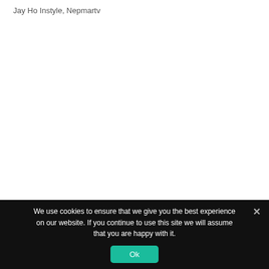Jay Ho Instyle, Nepmartv
We use cookies to ensure that we give you the best experience on our website. If you continue to use this site we will assume that you are happy with it.
Ok